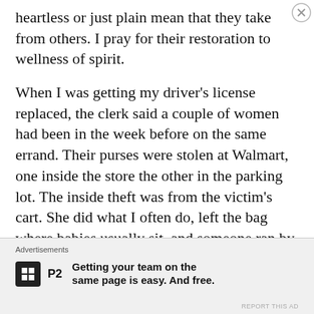heartless or just plain mean that they take from others. I pray for their restoration to wellness of spirit.
When I was getting my driver's license replaced, the clerk said a couple of women had been in the week before on the same errand. Their purses were stolen at Walmart, one inside the store the other in the parking lot. The inside theft was from the victim's cart. She did what I often do, left the bag where babies usually sit, and someone ran by and grabbed it. The woman outside had a similar set up.
Advertisements
Getting your team on the same page is easy. And free.